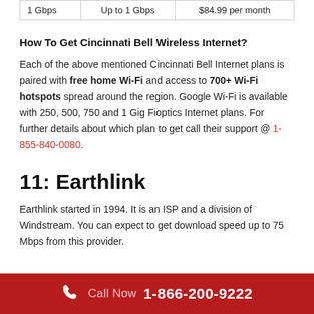| 1 Gbps | Up to 1 Gbps | $84.99 per month |
How To Get Cincinnati Bell Wireless Internet?
Each of the above mentioned Cincinnati Bell Internet plans is paired with free home Wi-Fi and access to 700+ Wi-Fi hotspots spread around the region. Google Wi-Fi is available with 250, 500, 750 and 1 Gig Fioptics Internet plans. For further details about which plan to get call their support @ 1-855-840-0080.
11: Earthlink
Earthlink started in 1994. It is an ISP and a division of Windstream. You can expect to get download speed up to 75 Mbps from this provider.
Call Now 1-866-200-9222